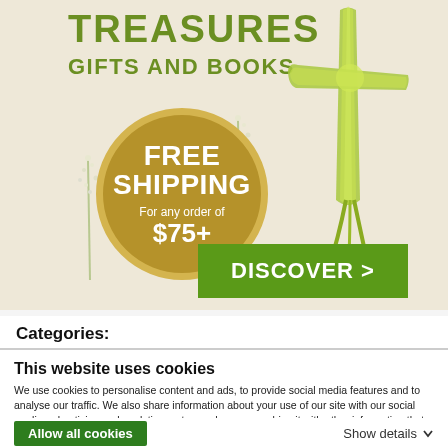[Figure (illustration): Advertisement banner for Treasures Gifts and Books. Shows a green woven cross (palm cross), white wildflowers on a cream/beige background. A gold circle badge reads FREE SHIPPING For any order of $75+. A green button says DISCOVER >. Text at top reads TREASURES GIFTS AND BOOKS in olive/green.]
Categories:
This website uses cookies
We use cookies to personalise content and ads, to provide social media features and to analyse our traffic. We also share information about your use of our site with our social media, advertising and analytics partners who may combine it with other information that you've provided to them or that they've collected from your use of their services.
Allow all cookies
Show details